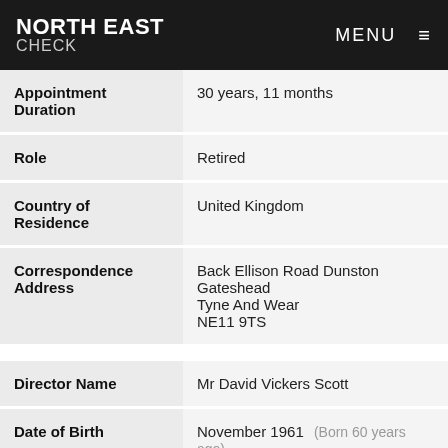NORTH EAST CHECK | MENU
| Field | Value |
| --- | --- |
| Appointment Duration | 30 years, 11 months |
| Role | Retired |
| Country of Residence | United Kingdom |
| Correspondence Address | Back Ellison Road Dunston Gateshead Tyne And Wear NE11 9TS |
| Field | Value |
| --- | --- |
| Director Name | Mr David Vickers Scott |
| Date of Birth | November 1961  (Born 60 years ago) |